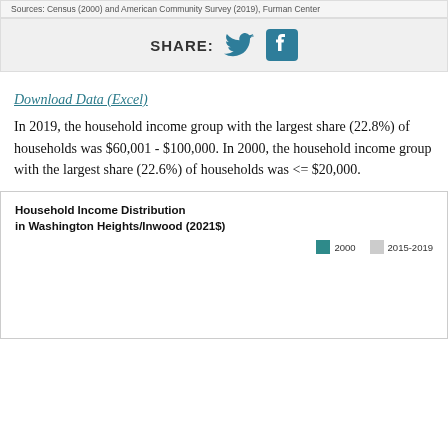Sources: Census (2000) and American Community Survey (2019), Furman Center
SHARE:
Download Data (Excel)
In 2019, the household income group with the largest share (22.8%) of households was $60,001 - $100,000. In 2000, the household income group with the largest share (22.6%) of households was <= $20,000.
[Figure (grouped-bar-chart): Grouped bar chart showing household income distribution comparing 2000 and 2015-2019 in Washington Heights/Inwood (2021$). Chart is partially visible, showing title and legend only.]